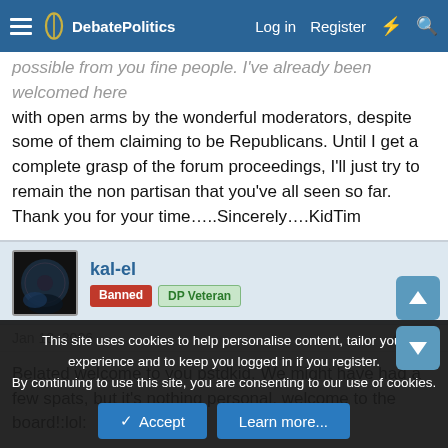DebatePolitics | Log in | Register
possible from you fine people. I've already been welcomed here with open arms by the wonderful moderators, despite some of them claiming to be Republicans. Until I get a complete grasp of the forum proceedings, I'll just try to remain the non partisan that you've all seen so far.
Thank you for your time…..Sincerely….KidTim
kal-el | Banned | DP Veteran
Jan 18, 2006 | #2
Belated welcome to you pstdkid. We might have had a few spats, but it's nothing personal, welcome to the board!:lol:
Comrade Brian
This site uses cookies to help personalise content, tailor your experience and to keep you logged in if you register.
By continuing to use this site, you are consenting to our use of cookies.
Accept | Learn more...